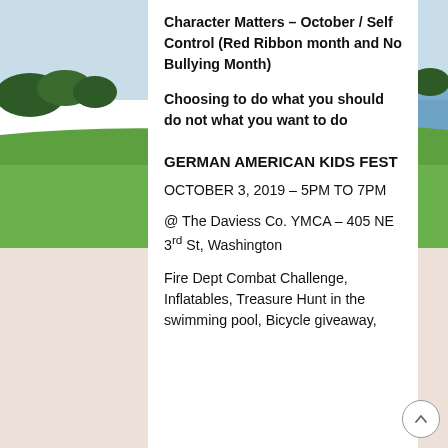[Figure (photo): Landscape photo showing green field, treeline, and lake/water in background with blue sky. White center panel overlaid on top.]
Character Matters – October / Self Control (Red Ribbon month and No Bullying Month)
Choosing to do what you should do not what you want to do
GERMAN AMERICAN KIDS FEST
OCTOBER 3, 2019 – 5PM TO 7PM
@ The Daviess Co. YMCA – 405 NE 3rd St, Washington
Fire Dept Combat Challenge, Inflatables, Treasure Hunt in the swimming pool, Bicycle giveaway,